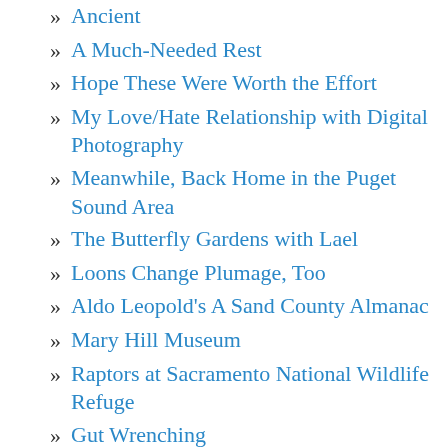Ancient
A Much-Needed Rest
Hope These Were Worth the Effort
My Love/Hate Relationship with Digital Photography
Meanwhile, Back Home in the Puget Sound Area
The Butterfly Gardens with Lael
Loons Change Plumage, Too
Aldo Leopold's A Sand County Almanac
Mary Hill Museum
Raptors at Sacramento National Wildlife Refuge
Gut Wrenching
Who Needs Butterflies?
Be Careful What You Wish For...